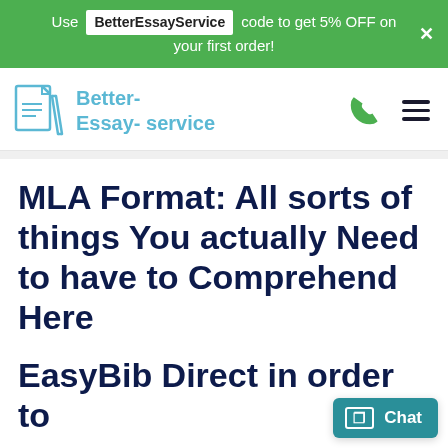Use BetterEssayService code to get 5% OFF on your first order!
[Figure (logo): Better-Essay-service logo with document and pen icon in light blue, phone icon in green, and hamburger menu icon]
MLA Format: All sorts of things You actually Need to have to Comprehend Here
EasyBib Direct in order to